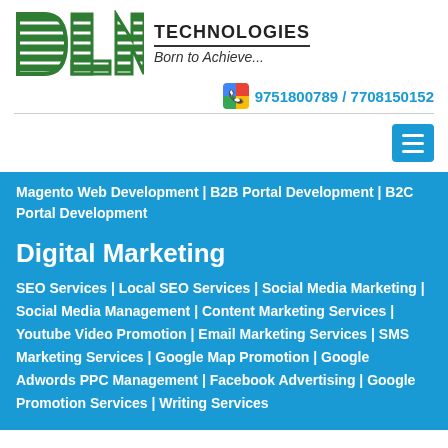[Figure (logo): DLK Technologies logo with green striped letters DLK, TECHNOLOGIES text, and Born to Achieve... tagline]
9751800789 / 7708150152
[Figure (other): Hamburger menu button (three horizontal lines) in blue]
Magento Web Development | B2B Portal Development | B2C Portal Development
Digital Marketing
SEO Services | Local SEO Services | Social Media Marketing | Social Media Management | Content Marketing Services | Youtube Video Promotion | Email Marketing Services | SMS Marketing Services | Google Map Promotion | Google Adwords PPC Management | Facebook Advertising | Google Promotion Services | Writing Services